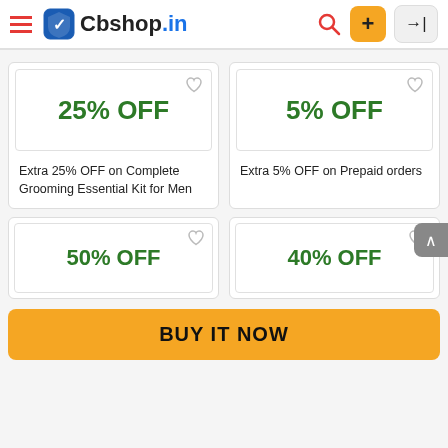Cbshop.in
[Figure (screenshot): Coupon card: 25% OFF - Extra 25% OFF on Complete Grooming Essential Kit for Men]
[Figure (screenshot): Coupon card: 5% OFF - Extra 5% OFF on Prepaid orders]
[Figure (screenshot): Coupon card: partial 50% OFF (clipped)]
[Figure (screenshot): Coupon card: partial 40% OFF (clipped)]
BUY IT NOW